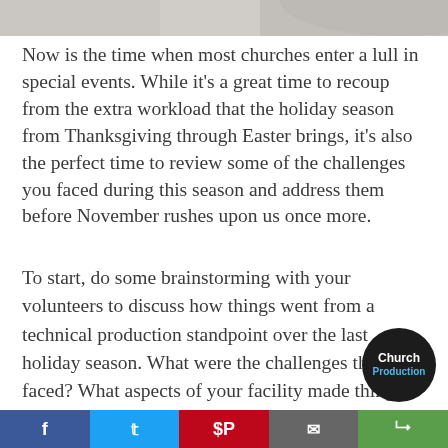[Figure (photo): Partial photo strip at top of page showing a person in a light-colored shirt, cropped to show only the lower torso/shoulders area against a white background.]
Now is the time when most churches enter a lull in special events. While it's a great time to recoup from the extra workload that the holiday season from Thanksgiving through Easter brings, it's also the perfect time to review some of the challenges you faced during this season and address them before November rushes upon us once more.
To start, do some brainstorming with your volunteers to discuss how things went from a technical production standpoint over the last holiday season. What were the challenges the team faced? What aspects of your facility made things time-consuming, difficult, or just plain unsa...